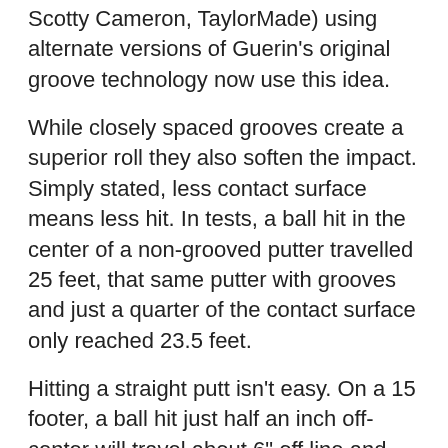Scotty Cameron, TaylorMade) using alternate versions of Guerin's original groove technology now use this idea.
While closely spaced grooves create a superior roll they also soften the impact. Simply stated, less contact surface means less hit. In tests, a ball hit in the center of a non-grooved putter travelled 25 feet, that same putter with grooves and just a quarter of the contact surface only reached 23.5 feet.
Hitting a straight putt isn't easy. On a 15 footer, a ball hit just half an inch off-center will travel about 6" off line and 5% shorter. That slight miss-hit is a missed putt!
Introducting Evnroll®. Precise face milling imparts progressively more energy transfer on off-center hits to roll the ball a consistent distance with